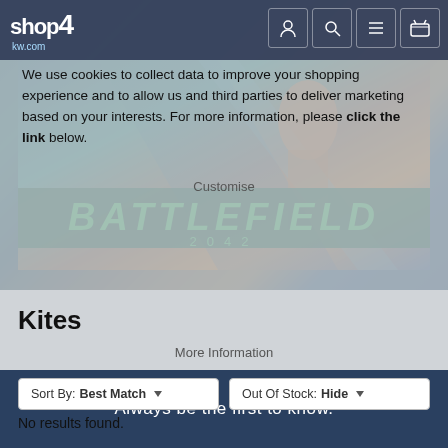[Figure (screenshot): Shop4kw.com website header with logo and navigation icons on dark bar]
We use cookies to collect data to improve your shopping experience and to allow us and third parties to deliver marketing based on your interests. For more information, please click the link below.
[Figure (photo): Battlefield 2042 game promotional banner with soldier and green teal background with the text BATTLEFIELD 2042]
Customise
Kites
More Information
Sort By: Best Match
Out Of Stock: Hide
No results found.
Always be the first to know.